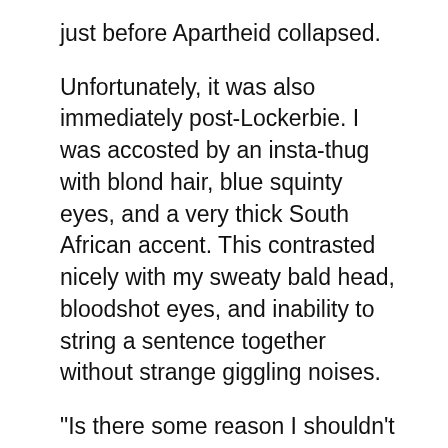just before Apartheid collapsed.
Unfortunately, it was also immediately post-Lockerbie. I was accosted by an insta-thug with blond hair, blue squinty eyes, and a very thick South African accent. This contrasted nicely with my sweaty bald head, bloodshot eyes, and inability to string a sentence together without strange giggling noises.
"Is there some reason I shouldn't look in your carry-on luggage?" asked insta-thug.
"Er, it depends," I said. "You looking for bombs?"
Well, I wasn't thinking too clearly,